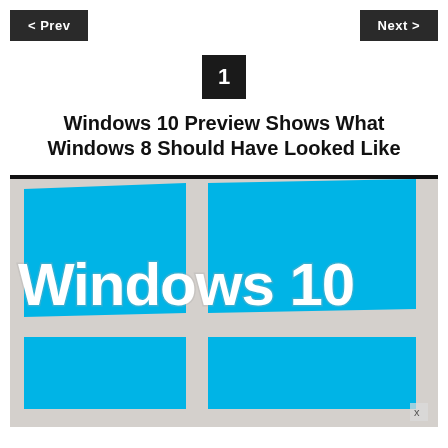< Prev    Next >
1
Windows 10 Preview Shows What Windows 8 Should Have Looked Like
[Figure (screenshot): Windows 10 logo promotional image showing the Windows logo tiles in cyan/blue on a light gray background with large white 'Windows 10' text overlay]